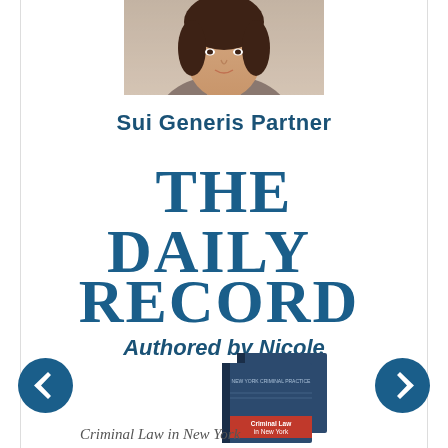[Figure (photo): Head and shoulders photo of a woman (Nicole) in professional attire, cropped at top of page]
Sui Generis Partner
[Figure (logo): The Daily Record logo in blue serif/display font with large letters]
Authored by Nicole
[Figure (photo): Book cover: Criminal Law in New York, Fourth Edition]
Criminal Law in New York